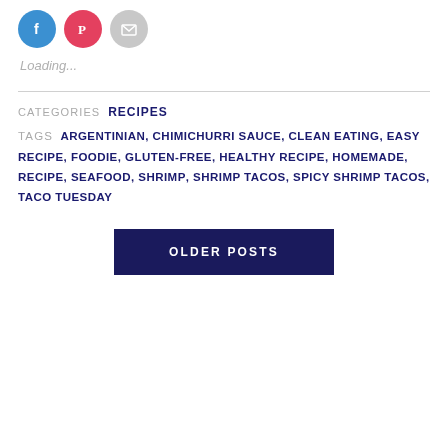[Figure (other): Three circular social sharing icons: Facebook (blue), Pinterest (red), Email (gray)]
Loading...
CATEGORIES  RECIPES
TAGS  ARGENTINIAN, CHIMICHURRI SAUCE, CLEAN EATING, EASY RECIPE, FOODIE, GLUTEN-FREE, HEALTHY RECIPE, HOMEMADE, RECIPE, SEAFOOD, SHRIMP, SHRIMP TACOS, SPICY SHRIMP TACOS, TACO TUESDAY
OLDER POSTS